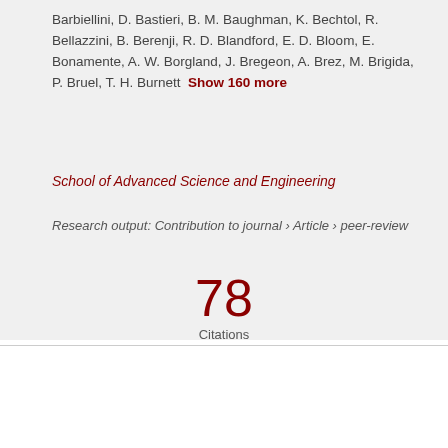Barbiellini, D. Bastieri, B. M. Baughman, K. Bechtol, R. Bellazzini, B. Berenji, R. D. Blandford, E. D. Bloom, E. Bonamente, A. W. Borgland, J. Bregeon, A. Brez, M. Brigida, P. Bruel, T. H. Burnett  Show 160 more
School of Advanced Science and Engineering
Research output: Contribution to journal › Article › peer-review
78 Citations (Scopus)
[Figure (other): Two circular badge icons side by side — orange and green — with a dark purple border, partially cropped at the bottom]
We use cookies to analyse and improve our service. Cookie Policy